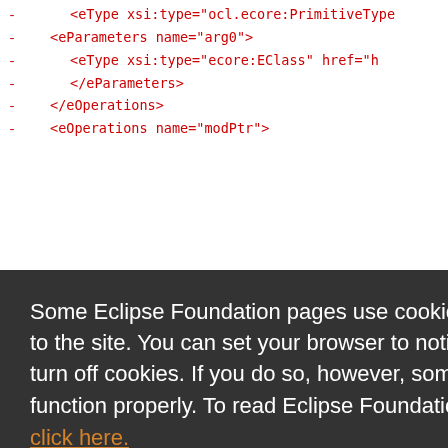-    <eType xsi:type="ocl.ecore:PrimitiveType
-    <eParameters name="arg0">
-      <eType xsi:type="ecore:EClass" href="h
-      </eParameters>
-    </eOperations>
-    <eOperations name="modPtr">
w.eclipse
:Constrai
/Modifier
itiveType
rameter">
" href="h
w.eclipse
:Constrai
/Modifier
-   </eAnnotations>
[Figure (screenshot): Cookie consent overlay from Eclipse Foundation website with dark background. Text reads: 'Some Eclipse Foundation pages use cookies to better serve you when you return to the site. You can set your browser to notify you before you receive a cookie or turn off cookies. If you do so, however, some areas of some sites may not function properly. To read Eclipse Foundation Privacy Policy click here.' Two buttons: 'Decline' (white) and 'Allow cookies' (orange).]